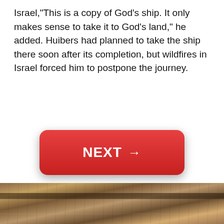Israel,"This is a copy of God's ship. It only makes sense to take it to God's land," he added. Huibers had planned to take the ship there soon after its completion, but wildfires in Israel forced him to postpone the journey.
[Figure (other): Large red button with white bold text 'NEXT →']
Trending For You Today
NextArticle  Read
[Figure (photo): Photo of wooden interior with beams and arched doorway, visible at bottom of page]